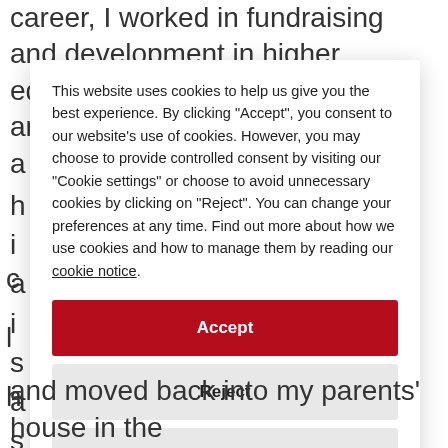career, I worked in fundraising and development in higher education. I wouldn't change anything a...
This website uses cookies to help us give you the best experience. By clicking "Accept", you consent to our website's use of cookies. However, you may choose to provide controlled consent by visiting our "Cookie settings" or choose to avoid unnecessary cookies by clicking on "Reject". You can change your preferences at any time. Find out more about how we use cookies and how to manage them by reading our cookie notice.
Accept
Reject
Cookie settings
and moved back into my parents' house in the